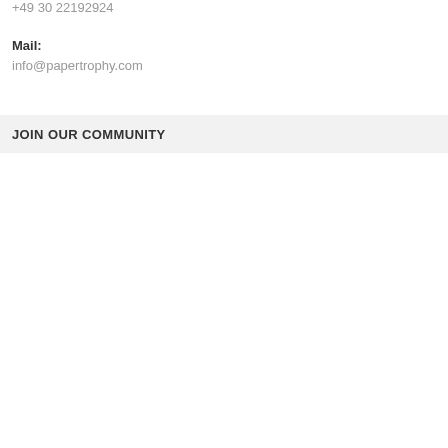+49 30 22192924
Mail:
info@papertrophy.com
JOIN OUR COMMUNITY